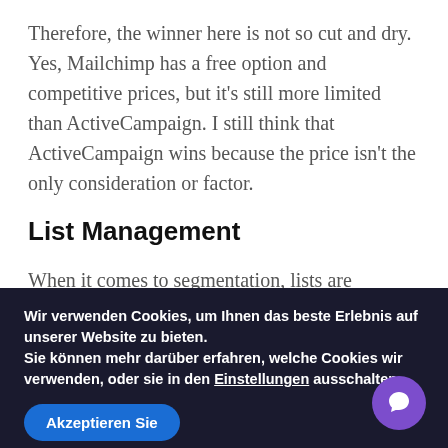Therefore, the winner here is not so cut and dry. Yes, Mailchimp has a free option and competitive prices, but it's still more limited than ActiveCampaign. I still think that ActiveCampaign wins because the price isn't the only consideration or factor.
List Management
When it comes to segmentation, lists are essential. This includes everyone who subscribes to you. Then, you can go further and give them tags or customize
Wir verwenden Cookies, um Ihnen das beste Erlebnis auf unserer Website zu bieten.
Sie können mehr darüber erfahren, welche Cookies wir verwenden, oder sie in den Einstellungen ausschalten.
Akzeptieren Sie